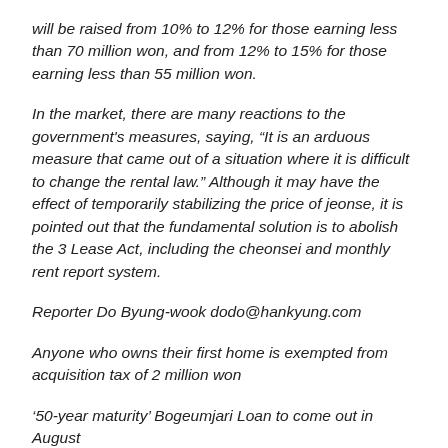will be raised from 10% to 12% for those earning less than 70 million won, and from 12% to 15% for those earning less than 55 million won.
In the market, there are many reactions to the government's measures, saying, “It is an arduous measure that came out of a situation where it is difficult to change the rental law.” Although it may have the effect of temporarily stabilizing the price of jeonse, it is pointed out that the fundamental solution is to abolish the 3 Lease Act, including the cheonsei and monthly rent report system.
Reporter Do Byung-wook dodo@hankyung.com
Anyone who owns their first home is exempted from acquisition tax of 2 million won
‘50-year maturity’ Bogeumjari Loan to come out in August